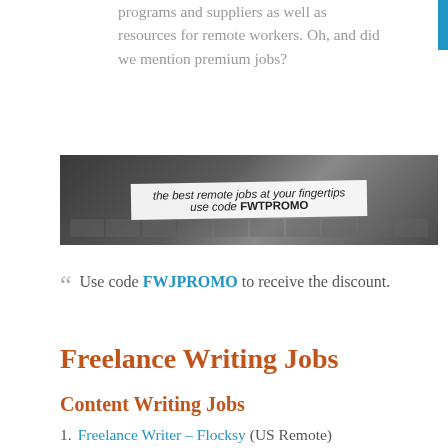programs and suppliers as well as resources for remote workers. Oh, and did we mention premium jobs?
[Figure (photo): Dark background photo of a laptop keyboard and desk with a white brush-stroke overlay text box reading 'the best remote jobs at your fingertips use code FWTPROMO']
Use code FWJPROMO to receive the discount.
Freelance Writing Jobs
Content Writing Jobs
Freelance Writer – Flocksy (US Remote)